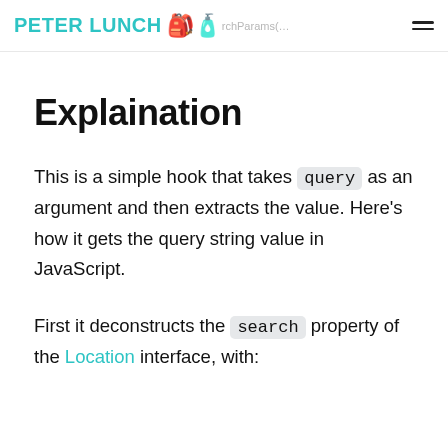PETER LUNCH 🎒🧴 ← SearchParams(…) →  ≡
Explaination
This is a simple hook that takes query as an argument and then extracts the value. Here's how it gets the query string value in JavaScript.
First it deconstructs the search property of the Location interface, with: